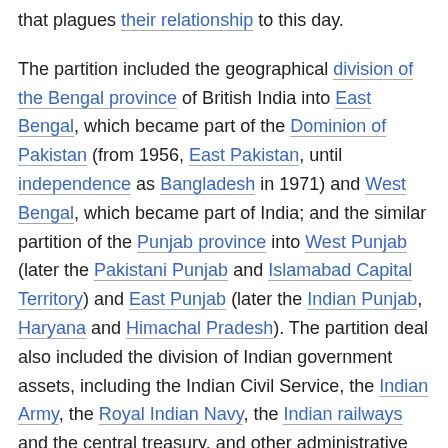that plagues their relationship to this day.
The partition included the geographical division of the Bengal province of British India into East Bengal, which became part of the Dominion of Pakistan (from 1956, East Pakistan, until independence as Bangladesh in 1971) and West Bengal, which became part of India; and the similar partition of the Punjab province into West Punjab (later the Pakistani Punjab and Islamabad Capital Territory) and East Punjab (later the Indian Punjab, Haryana and Himachal Pradesh). The partition deal also included the division of Indian government assets, including the Indian Civil Service, the Indian Army, the Royal Indian Navy, the Indian railways and the central treasury, and other administrative services.